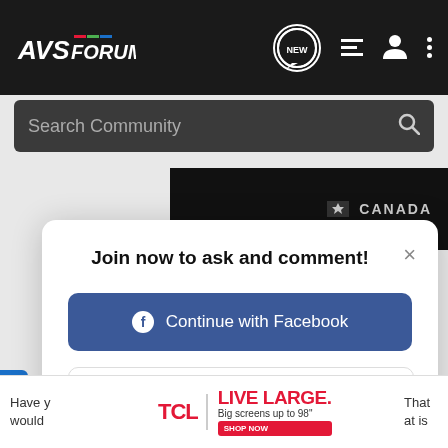AVSForum — navigation bar with NEW, list, user, and menu icons
Search Community
[Figure (screenshot): Dark advertisement strip with CANADA text and speaker graphic]
Join now to ask and comment!
Continue with Facebook
Continue with Google
Continue with Apple
or sign up with email
Have y... That would... at is — TCL LIVE LARGE. Big screens up to 98" SHOP NOW